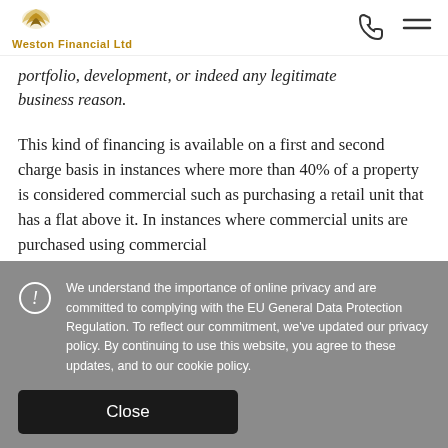Weston Financial Ltd
portfolio, development, or indeed any legitimate business reason.
This kind of financing is available on a first and second charge basis in instances where more than 40% of a property is considered commercial such as purchasing a retail unit that has a flat above it. In instances where commercial units are purchased using commercial
We understand the importance of online privacy and are committed to complying with the EU General Data Protection Regulation. To reflect our commitment, we've updated our privacy policy. By continuing to use this website, you agree to these updates, and to our cookie policy.
Close